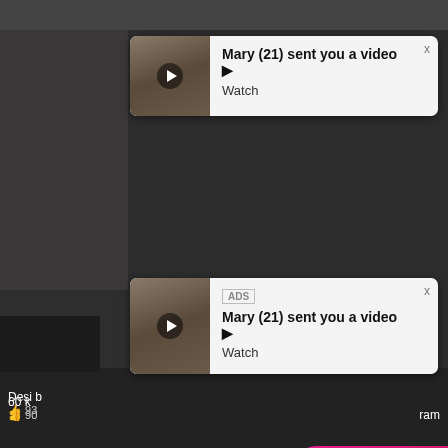[Figure (screenshot): Dark social media video feed background with multiple blurred video thumbnails in a grid layout]
Mary (21) sent you a video ▶
Watch
Mary (21) sent you a video ▶
ADS
Watch
Angel is typing ... 💬
(1) unread message
LIVE
Desi b
93
ADS
(1)Missed Call from Eliza
pleeease call me back.. I miss you!
0:00
3:23
60 k
90
ram